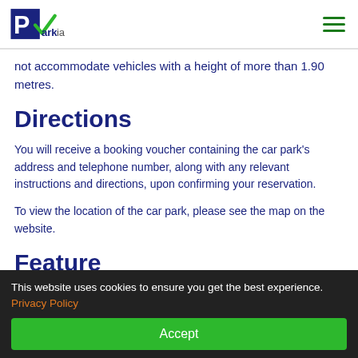ParkVia
not accommodate vehicles with a height of more than 1.90 metres.
Directions
You will receive a booking voucher containing the car park's address and telephone number, along with any relevant instructions and directions, upon confirming your reservation.
To view the location of the car park, please see the map on the website.
Features
This website uses cookies to ensure you get the best experience. Privacy Policy
Accept